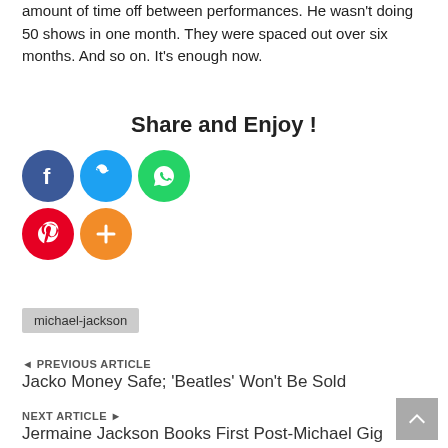amount of time off between performances. He wasn't doing 50 shows in one month. They were spaced out over six months. And so on. It's enough now.
Share and Enjoy !
[Figure (infographic): Social sharing icons: Facebook (blue circle), Twitter (blue circle), WhatsApp (green circle), Pinterest (red circle), More/Plus (orange circle)]
michael-jackson
◄ PREVIOUS ARTICLE
Jacko Money Safe; 'Beatles' Won't Be Sold
NEXT ARTICLE ►
Jermaine Jackson Books First Post-Michael Gig